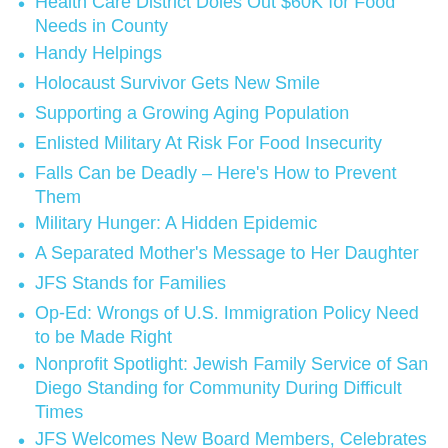Health Care District Doles Out $60K for Food Needs in County
Handy Helpings
Holocaust Survivor Gets New Smile
Supporting a Growing Aging Population
Enlisted Military At Risk For Food Insecurity
Falls Can be Deadly – Here's How to Prevent Them
Military Hunger: A Hidden Epidemic
A Separated Mother's Message to Her Daughter
JFS Stands for Families
Op-Ed: Wrongs of U.S. Immigration Policy Need to be Made Right
Nonprofit Spotlight: Jewish Family Service of San Diego Standing for Community During Difficult Times
JFS Welcomes New Board Members, Celebrates Inspiring Leaders at Annual Meeting & Awards Luncheon